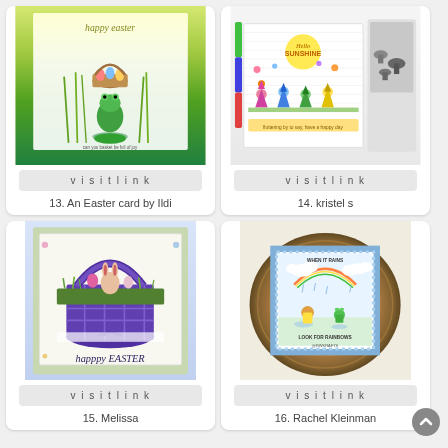[Figure (photo): Easter card with a frog stacking Easter egg basket, with 'happy easter' text at top, colorful spring background]
visit link
13. An Easter card by Ildi
[Figure (photo): Craft card with gnomes and Hello Sunshine text, colorful illustrated scene with mushroom stamp set nearby]
visit link
14. kristel s
[Figure (photo): Easter basket card with purple plaid basket holding a bunny, eggs, and happy Easter script text, floral background]
visit link
15. Melissa
[Figure (photo): Card on a wood slice showing 'When it Rains Look for Rainbows' with cute animals in rain scene, blue gingham border, by @RWKRAFTS]
visit link
16. Rachel Kleinman